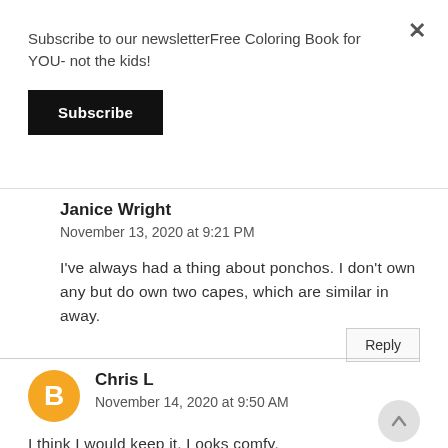Subscribe to our newsletterFree Coloring Book for YOU- not the kids!
Subscribe
Janice Wright
November 13, 2020 at 9:21 PM
I've always had a thing about ponchos. I don't own any but do own two capes, which are similar in away.
Reply
[Figure (illustration): Orange circle avatar with white blogger 'B' icon]
Chris L
November 14, 2020 at 9:50 AM
I think I would keep it. Looks comfy.